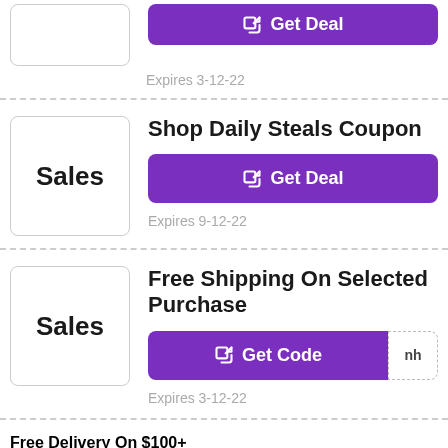[Figure (other): Partial coupon section at top: Sales box and purple Get Deal button, expires 3-12-22]
Expires 3-12-22
Shop Daily Steals Coupon
Get Deal
Expires 9-12-22
Free Shipping On Selected Purchase
Get Code
Expires 3-12-22
Free Delivery On $100+